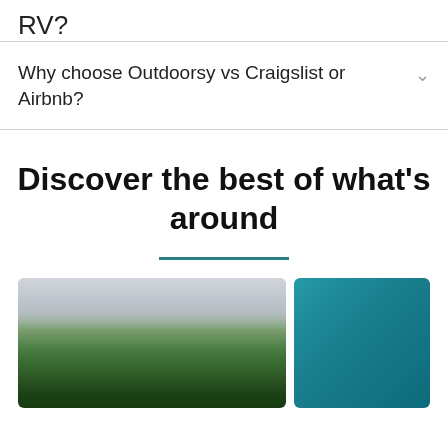RV?
Why choose Outdoorsy vs Craigslist or Airbnb?
Discover the best of what's around
[Figure (photo): Autumn mountain landscape with colorful foliage covering hillsides under a cloudy sky]
[Figure (photo): Teal/blue sky or water background, partially visible]